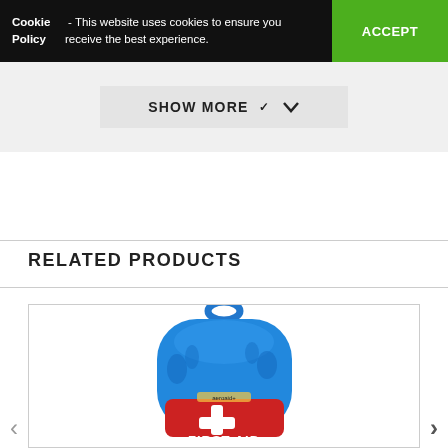Cookie Policy - This website uses cookies to ensure you receive the best experience. ACCEPT
SHOW MORE
RELATED PRODUCTS
[Figure (photo): Blue first aid kit case with red label reading FIRST AID and a white cross, with a handle on top]